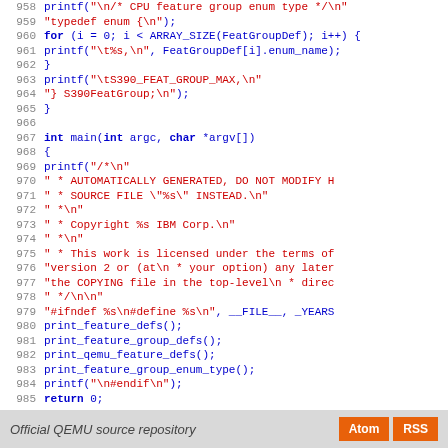[Figure (screenshot): Source code viewer showing lines 958-986 of a C program from the Official QEMU source repository, with syntax highlighting (blue keywords, red strings, blue identifiers).]
Official QEMU source repository   Atom   RSS